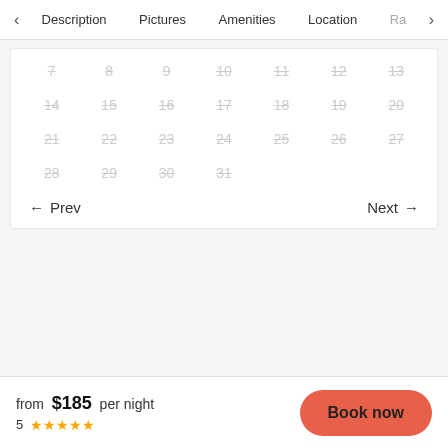< Description  Pictures  Amenities  Location  Ra >
[Figure (screenshot): Calendar grid showing dates 7-31, all dates displayed with strikethrough in light gray indicating unavailability. Rows: 7-13, 14-20, 21-27, 28-31. Navigation buttons Prev and Next at bottom of calendar.]
from $185 per night
5 ★★★★★
Book now